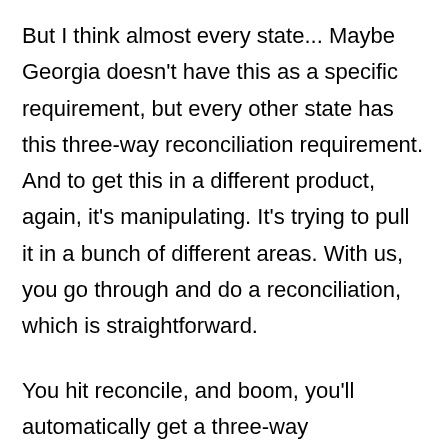But I think almost every state... Maybe Georgia doesn't have this as a specific requirement, but every other state has this three-way reconciliation requirement. And to get this in a different product, again, it's manipulating. It's trying to pull it in a bunch of different areas. With us, you go through and do a reconciliation, which is straightforward.
You hit reconcile, and boom, you'll automatically get a three-way reconciliation. There's literally no extra steps. That's one of the really neat things that our users love is that with just doing reconciliation, which is a normal kind of month end process, I hit